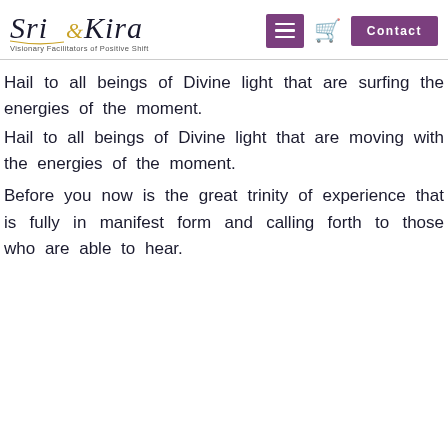Sri & Kira — Visionary Facilitators of Positive Shift [with menu, cart, and Contact button]
Hail to all beings of Divine light that are surfing the energies of the moment.
Hail to all beings of Divine light that are moving with the energies of the moment.
Before you now is the great trinity of experience that is fully in manifest form and calling forth to those who are able to hear.